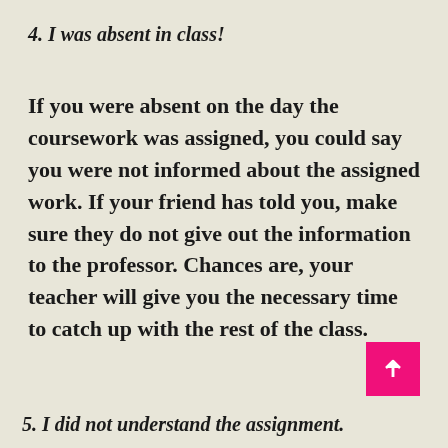4. I was absent in class!
If you were absent on the day the coursework was assigned, you could say you were not informed about the assigned work. If your friend has told you, make sure they do not give out the information to the professor. Chances are, your teacher will give you the necessary time to catch up with the rest of the class.
5. I did not understand the assignment.